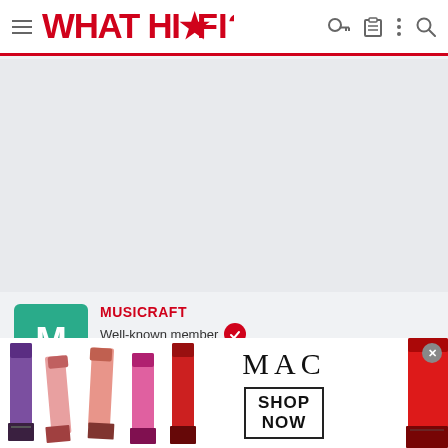WHAT HI-FI? navigation bar with hamburger menu, logo, and icons
[Figure (other): Advertisement placeholder area (grey background)]
MUSICRAFT
Well-known member
Mar 23, 2009   1,706   576   20,570
www.musicraft.co.uk
[Figure (photo): MAC Cosmetics advertisement banner showing lipsticks with SHOP NOW button]